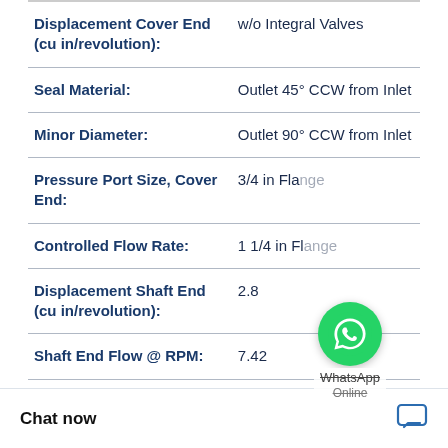| Property | Value |
| --- | --- |
| Displacement Cover End (cu in/revolution): | w/o Integral Valves |
| Seal Material: | Outlet 45° CCW from Inlet |
| Minor Diameter: | Outlet 90° CCW from Inlet |
| Pressure Port Size, Cover End: | 3/4 in Flange |
| Controlled Flow Rate: | 1 1/4 in Flange |
| Displacement Shaft End (cu in/revolution): | 2.8 |
| Shaft End Flow @ RPM: | 7.42 |
[Figure (other): WhatsApp Online chat widget overlay showing green WhatsApp icon with 'WhatsApp Online' label]
Chat now